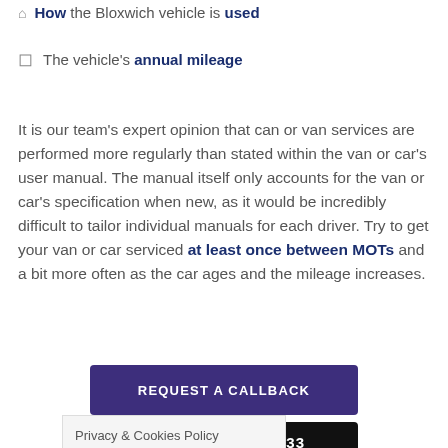How the Bloxwich vehicle is used
The vehicle's annual mileage
It is our team's expert opinion that can or van services are performed more regularly than stated within the van or car's user manual. The manual itself only accounts for the van or car's specification when new, as it would be incredibly difficult to tailor individual manuals for each driver. Try to get your van or car serviced at least once between MOTs and a bit more often as the car ages and the mileage increases.
REQUEST A CALLBACK
Privacy & Cookies Policy